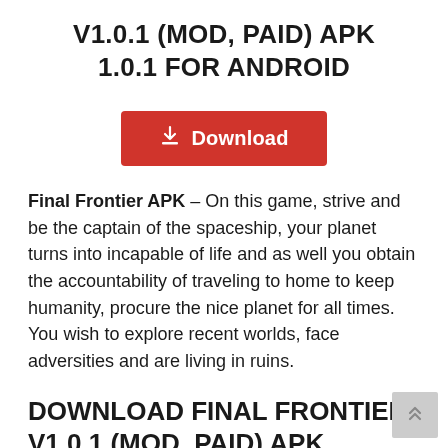V1.0.1 (MOD, PAID) APK 1.0.1 FOR ANDROID
[Figure (other): Red download button with download icon and text 'Download']
Final Frontier APK – On this game, strive and be the captain of the spaceship, your planet turns into incapable of life and as well you obtain the accountability of traveling to home to keep humanity, procure the nice planet for all times. You wish to explore recent worlds, face adversities and are living in ruins.
DOWNLOAD FINAL FRONTIER V1.0.1 (MOD, PAID) APK